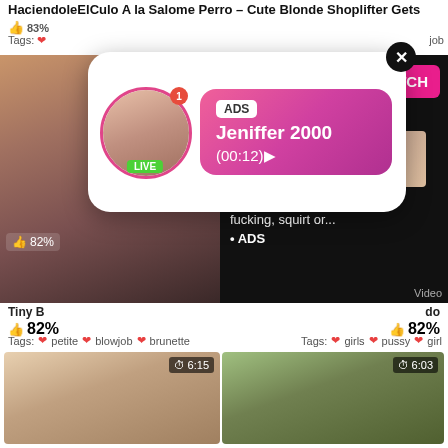HaciendoleElCulo A la Salome Perro - Cute Blonde Shoplifter Gets
83%
Tags:
[Figure (screenshot): Ad popup overlay showing a live cam girl notification. Pink gradient banner with ADS label, name Jeniffer 2000, time (00:12), avatar with LIVE badge and notification dot, X close button.]
[Figure (photo): Left video thumbnail showing a woman, 7:13 timer badge]
[Figure (screenshot): Right panel black background: WHAT DO YOU WANT? text, pink WATCH button, Online indicator with red dot, three small thumbnail images, text Cumming, ass fucking, squirt or... • ADS, Video label]
82%
Tiny B
82%
do
Tags: petite blowjob brunette
Tags: girls pussy girl
[Figure (photo): Bottom left thumbnail: young woman lying down, 6:15 timer badge]
[Figure (photo): Bottom right thumbnail: outdoor group scene with people, 6:03 timer badge]